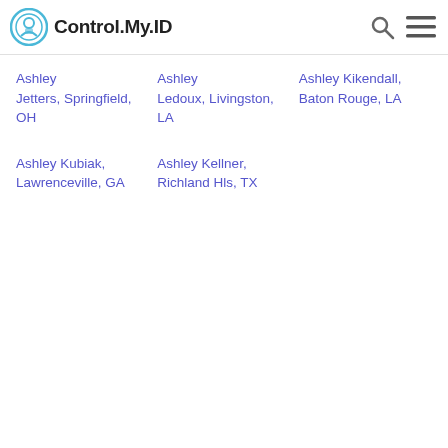Control.My.ID
Ashley Jetters, Springfield, OH
Ashley Ledoux, Livingston, LA
Ashley Kikendall, Baton Rouge, LA
Ashley Kubiak, Lawrenceville, GA
Ashley Kellner, Richland Hls, TX